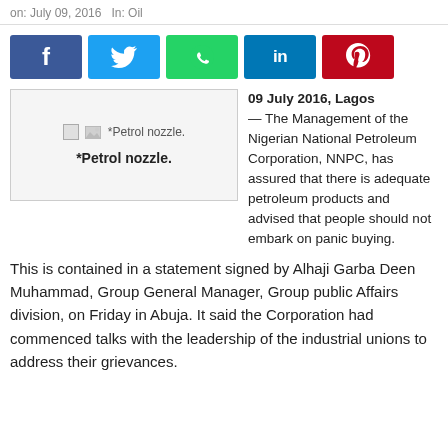on: July 09, 2016   In: Oil
[Figure (other): Social media share buttons: Facebook, Twitter, WhatsApp, LinkedIn, Pinterest]
[Figure (photo): *Petrol nozzle. Image placeholder with bold caption text '*Petrol nozzle.']
09 July 2016, Lagos — The Management of the Nigerian National Petroleum Corporation, NNPC, has assured that there is adequate petroleum products and advised that people should not embark on panic buying.
This is contained in a statement signed by Alhaji Garba Deen Muhammad, Group General Manager, Group public Affairs division, on Friday in Abuja. It said the Corporation had commenced talks with the leadership of the industrial unions to address their grievances.